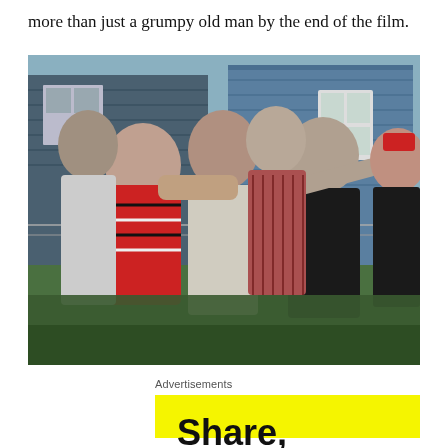more than just a grumpy old man by the end of the film.
[Figure (photo): A group of young Asian men in a confrontation outdoors near a chain-link fence. One man in a striped red and black shirt is being grabbed by the throat/collar. Others stand around watching or participating. A blue house is visible in the background.]
Advertisements
Share, Discuss,